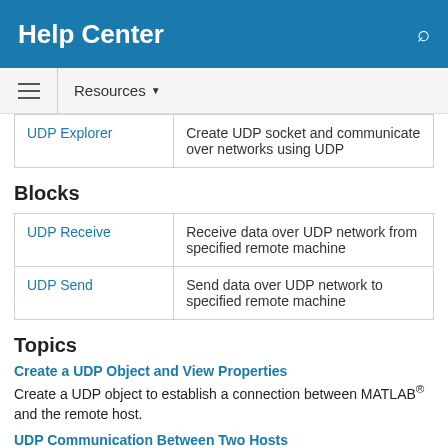Help Center
| UDP Explorer | Create UDP socket and communicate over networks using UDP |
Blocks
| UDP Receive | Receive data over UDP network from specified remote machine |
| UDP Send | Send data over UDP network to specified remote machine |
Topics
Create a UDP Object and View Properties
Create a UDP object to establish a connection between MATLAB® and the remote host.
UDP Communication Between Two Hosts
These are the minimum steps required to communicate between two hosts over UDP.